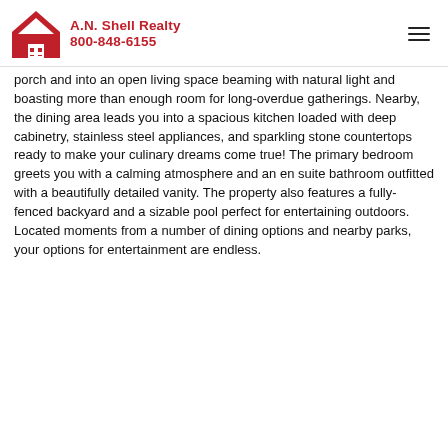A.N. Shell Realty 800-848-6155
porch and into an open living space beaming with natural light and boasting more than enough room for long-overdue gatherings. Nearby, the dining area leads you into a spacious kitchen loaded with deep cabinetry, stainless steel appliances, and sparkling stone countertops ready to make your culinary dreams come true! The primary bedroom greets you with a calming atmosphere and an en suite bathroom outfitted with a beautifully detailed vanity. The property also features a fully-fenced backyard and a sizable pool perfect for entertaining outdoors. Located moments from a number of dining options and nearby parks, your options for entertainment are endless.